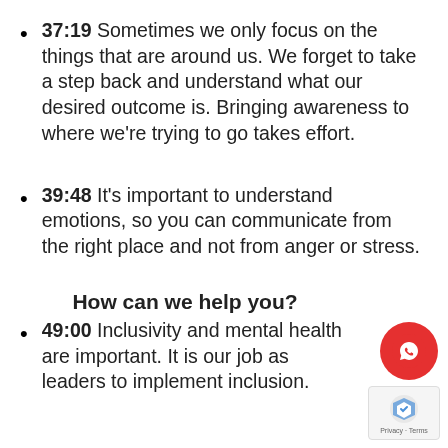37:19 Sometimes we only focus on the things that are around us. We forget to take a step back and understand what our desired outcome is. Bringing awareness to where we're trying to go takes effort.
39:48 It's important to understand emotions, so you can communicate from the right place and not from anger or stress.
How can we help you?
49:00 Inclusivity and mental health are important. It is our job as leaders to implement inclusion.